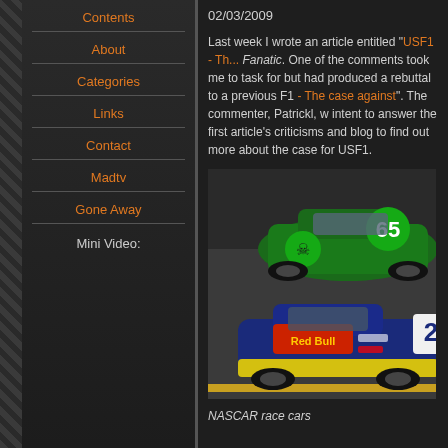Contents
About
Categories
Links
Contact
Madtv
Gone Away
Mini Video:
02/03/2009
Last week I wrote an article entitled "USF1 - Th... Fanatic. One of the comments took me to task for but had produced a rebuttal to a previous F1 - The case against". The commenter, Patrickl, w intent to answer the first article's criticisms and blog to find out more about the case for USF1.
[Figure (photo): Two NASCAR race cars on track — a green car numbered 65 and a yellow/blue Red Bull sponsored car]
NASCAR race cars